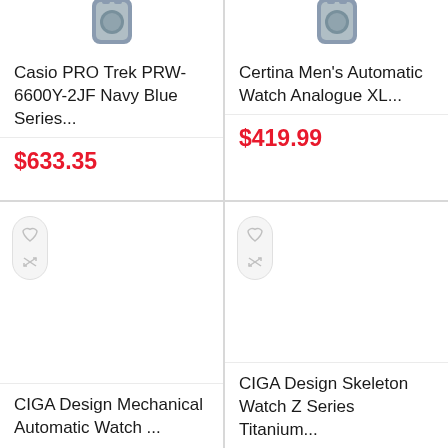[Figure (screenshot): Partial watch image - Casio PRO Trek top portion visible]
Casio PRO Trek PRW-6600Y-2JF Navy Blue Series...
$633.35
[Figure (screenshot): Partial watch image - Certina Men's top portion visible]
Certina Men's Automatic Watch Analogue XL...
$419.99
[Figure (screenshot): CIGA Design Mechanical watch card with heart and compare icons, empty product image area]
CIGA Design Mechanical Automatic Watch ...
[Figure (screenshot): CIGA Design Skeleton watch card with heart and compare icons, empty product image area]
CIGA Design Skeleton Watch Z Series Titanium...